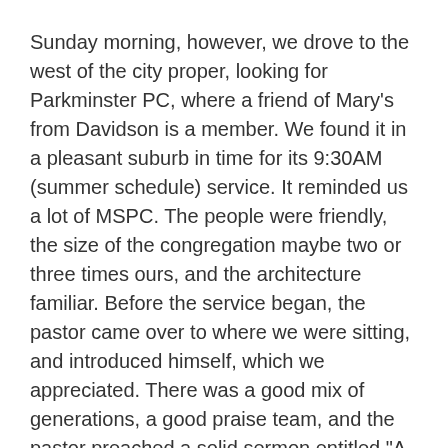Sunday morning, however, we drove to the west of the city proper, looking for Parkminster PC, where a friend of Mary's from Davidson is a member. We found it in a pleasant suburb in time for its 9:30AM (summer schedule) service. It reminded us a lot of MSPC. The people were friendly, the size of the congregation maybe two or three times ours, and the architecture familiar. Before the service began, the pastor came over to where we were sitting, and introduced himself, which we appreciated. There was a good mix of generations, a good praise team, and the pastor preached a solid sermon entitled "A Severe Mercy," a grown-up sermon, actually, about the Christian life and its serious challenges. This church looked like it might be fine church home for Mary.
I did mention the familiar architecture of this church, and so I must mention a feature of its interior that was plainly different from home. As one walks through the wide doors of the church from the parking lot, to the right is a very large cloak-room. It has no doors, one simply walks into this large area. It is lined with racks, places to hang one's coat, set